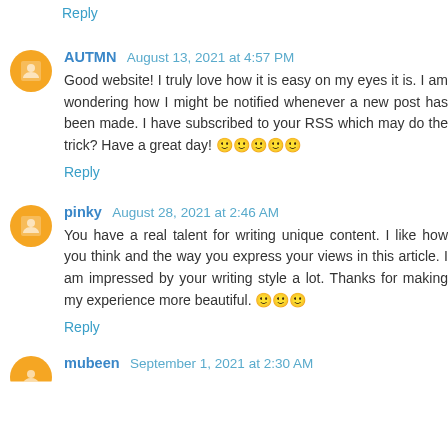Reply
AUTMN  August 13, 2021 at 4:57 PM
Good website! I truly love how it is easy on my eyes it is. I am wondering how I might be notified whenever a new post has been made. I have subscribed to your RSS which may do the trick? Have a great day! 🙂🙂🙂🙂🙂
Reply
pinky  August 28, 2021 at 2:46 AM
You have a real talent for writing unique content. I like how you think and the way you express your views in this article. I am impressed by your writing style a lot. Thanks for making my experience more beautiful. 🙂🙂🙂
Reply
mubeen  September 1, 2021 at 2:30 AM